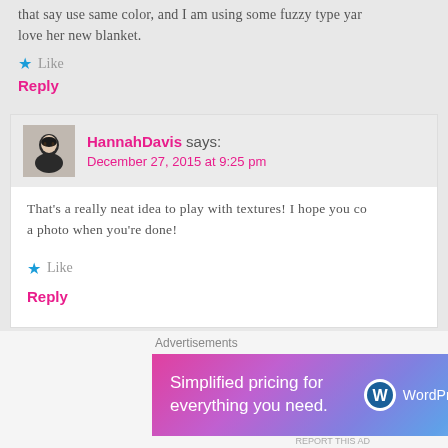that say use same color, and I am using some fuzzy type yarn love her new blanket.
★ Like
Reply
HannahDavis says:
December 27, 2015 at 9:25 pm
That's a really neat idea to play with textures! I hope you co a photo when you're done!
★ Like
Reply
Verónica says:
January 2, 2016 at 6:02 pm
Advertisements
[Figure (screenshot): WordPress.com advertisement banner: 'Simplified pricing for everything you need.' with WordPress.com logo]